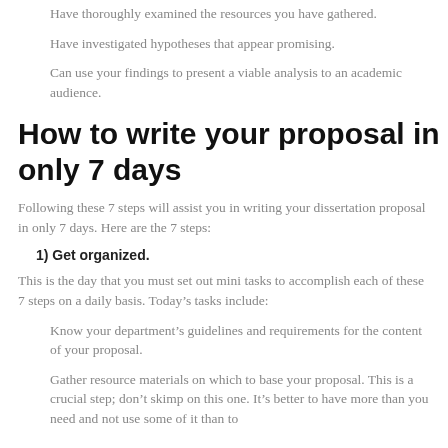Have thoroughly examined the resources you have gathered.
Have investigated hypotheses that appear promising.
Can use your findings to present a viable analysis to an academic audience.
How to write your proposal in only 7 days
Following these 7 steps will assist you in writing your dissertation proposal in only 7 days. Here are the 7 steps:
1) Get organized.
This is the day that you must set out mini tasks to accomplish each of these 7 steps on a daily basis. Today’s tasks include:
Know your department’s guidelines and requirements for the content of your proposal.
Gather resource materials on which to base your proposal. This is a crucial step; don’t skimp on this one. It’s better to have more than you need and not use some of it than to